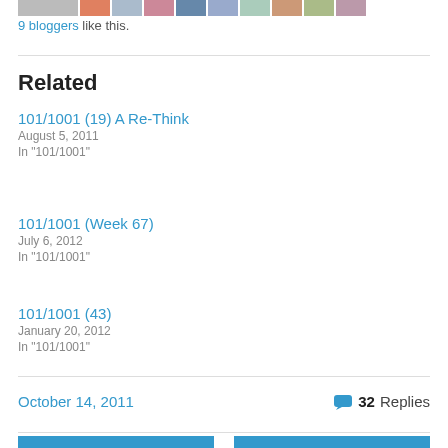9 bloggers like this.
Related
101/1001 (19) A Re-Think
August 5, 2011
In "101/1001"
101/1001 (Week 67)
July 6, 2012
In "101/1001"
101/1001 (43)
January 20, 2012
In "101/1001"
October 14, 2011
32 Replies